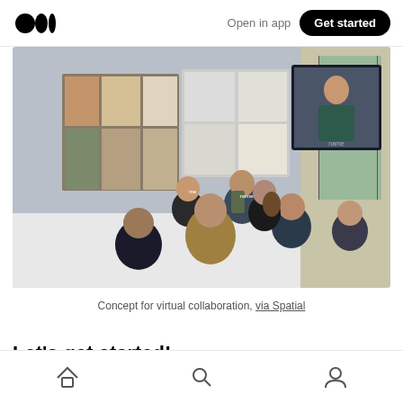Open in app | Get started
[Figure (screenshot): Virtual reality collaboration scene showing multiple avatars/characters gathered in a modern room with artwork displayed on walls, one person visible via video call on a screen, rendered in a 3D virtual environment (Spatial)]
Concept for virtual collaboration, via Spatial
Let’s get started!
Home | Search | Profile